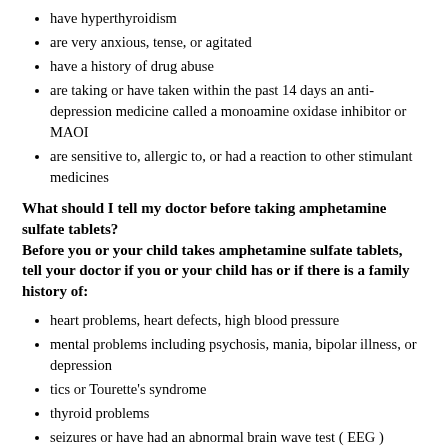have hyperthyroidism
are very anxious, tense, or agitated
have a history of drug abuse
are taking or have taken within the past 14 days an anti-depression medicine called a monoamine oxidase inhibitor or MAOI
are sensitive to, allergic to, or had a reaction to other stimulant medicines
What should I tell my doctor before taking amphetamine sulfate tablets?
Before you or your child takes amphetamine sulfate tablets, tell your doctor if you or your child has or if there is a family history of:
heart problems, heart defects, high blood pressure
mental problems including psychosis, mania, bipolar illness, or depression
tics or Tourette's syndrome
thyroid problems
seizures or have had an abnormal brain wave test ( EEG )
circulation problems in fingers and toes
Tell your doctor if:
you or your child are pregnant or planning to become